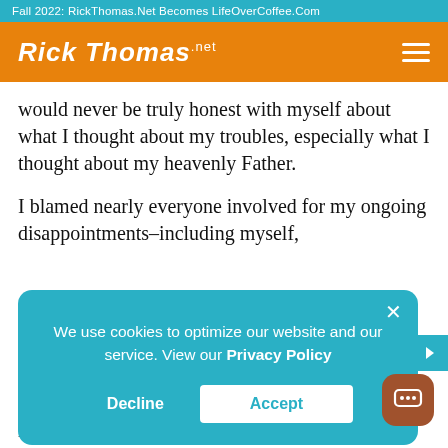Fall 2022: RickThomas.Net Becomes LifeOverCoffee.Com
[Figure (logo): Rick Thomas .net logo in white script on orange header bar with hamburger menu icon]
would never be truly honest with myself about what I thought about my troubles, especially what I thought about my heavenly Father.
I blamed nearly everyone involved for my ongoing disappointments–including myself,
[Figure (screenshot): Cookie consent popup dialog with text: We use cookies to optimize our website and our service. View our Privacy Policy. Buttons: Decline and Accept]
heart–he had been angry at God. Interestingly